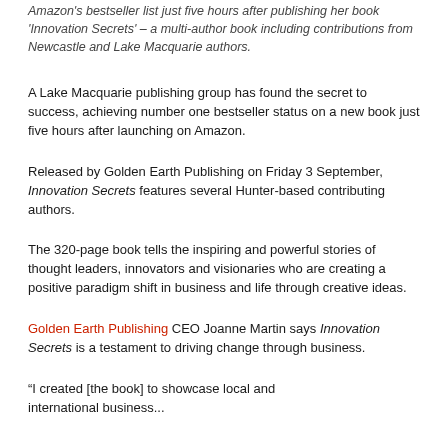Amazon's bestseller list just five hours after publishing her book 'Innovation Secrets' – a multi-author book including contributions from Newcastle and Lake Macquarie authors.
A Lake Macquarie publishing group has found the secret to success, achieving number one bestseller status on a new book just five hours after launching on Amazon.
Released by Golden Earth Publishing on Friday 3 September, Innovation Secrets features several Hunter-based contributing authors.
The 320-page book tells the inspiring and powerful stories of thought leaders, innovators and visionaries who are creating a positive paradigm shift in business and life through creative ideas.
Golden Earth Publishing CEO Joanne Martin says Innovation Secrets is a testament to driving change through business.
“I created [the book] to showcase local and international business...